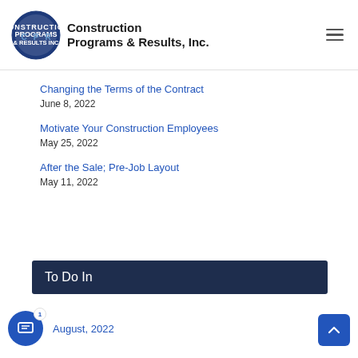Construction Programs & Results, Inc.
Changing the Terms of the Contract
June 8, 2022
Motivate Your Construction Employees
May 25, 2022
After the Sale; Pre-Job Layout
May 11, 2022
To Do In
August, 2022